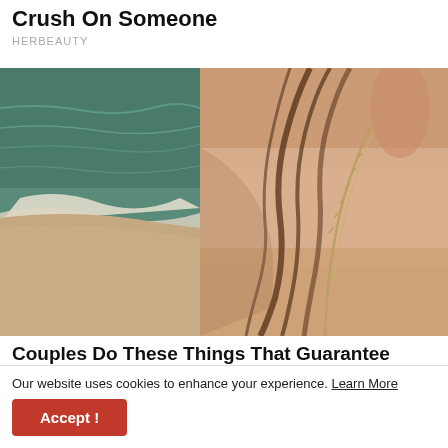Crush On Someone
HERBEAUTY
[Figure (photo): Aerial and close-up composite photo: left side shows ocean waves meeting sandy beach with a tiny silhouette of a person standing on the sand; right side shows a close-up of a person's neck and chest with a chain necklace and hair.]
Couples Do These Things That Guarantee Them Eternal Happiness
Our website uses cookies to enhance your experience. Learn More
Accept!